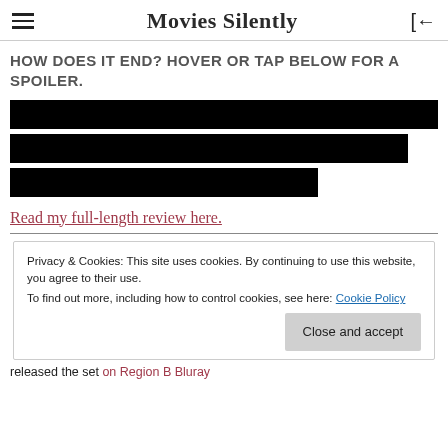Movies Silently
HOW DOES IT END? HOVER OR TAP BELOW FOR A SPOILER.
[Figure (other): Three black redacted/spoiler text lines of decreasing width]
Read my full-length review here.
Privacy & Cookies: This site uses cookies. By continuing to use this website, you agree to their use.
To find out more, including how to control cookies, see here: Cookie Policy
Close and accept
released the set on Region B Bluray